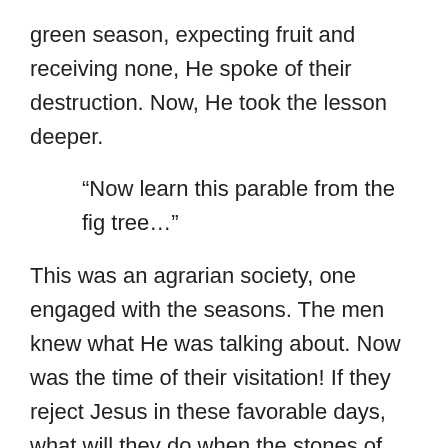green season, expecting fruit and receiving none, He spoke of their destruction. Now, He took the lesson deeper.
“Now learn this parable from the fig tree…”
This was an agrarian society, one engaged with the seasons. The men knew what He was talking about. Now was the time of their visitation! If they reject Jesus in these favorable days, what will they do when the stones of the Temple start to fall?
“Assuredly, I say to you, this generation will